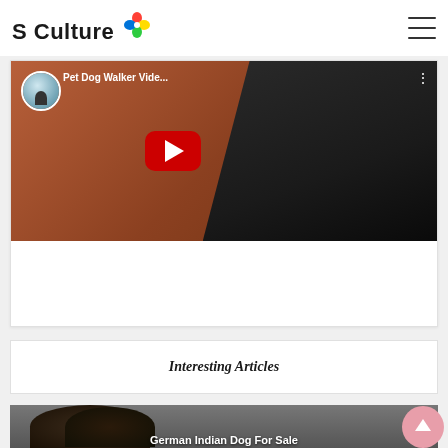S Culture
[Figure (screenshot): YouTube video thumbnail for 'Pet Dog Walker Vide...' showing a person with arms outstretched in a circular avatar, a dark background with a dog, and a red YouTube play button in the center. Three-dot menu icon visible top right.]
Interesting Articles
[Figure (photo): Photo of dark-colored puppies (German Indian Dog) in a gray background]
German Indian Dog For Sale